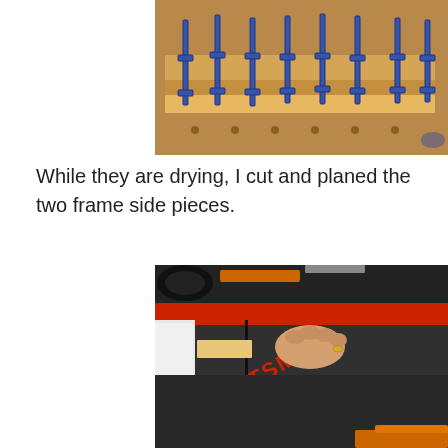[Figure (photo): Wooden pieces being glued and clamped with multiple blue clamps on a workbench]
While they are drying, I cut and planed the two frame side pieces.
[Figure (photo): Hand guiding a piece of wood through a Craftsman table saw]